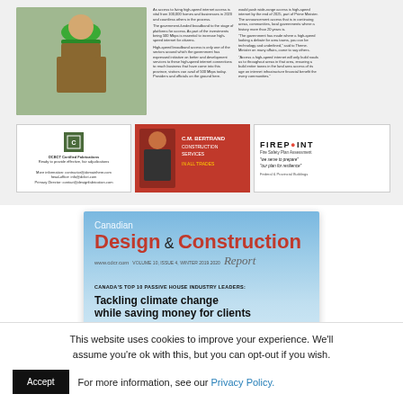[Figure (screenshot): Screenshot of a web article with a photo of a construction worker wearing a green hard hat, accompanied by article text columns and three advertisement blocks including a certification ad, a red construction services ad, and a FIREPOINT fire safety ad.]
[Figure (photo): Canadian Design & Construction Report magazine cover, Volume 10 Issue 4, Winter 2019-2020, with blue sky background. Headline reads 'Tackling climate change while saving money for clients'. Subheading 'Canada's Top 10 Passive House Industry Leaders'.]
This website uses cookies to improve your experience. We'll assume you're ok with this, but you can opt-out if you wish.
Accept  For more information, see our Privacy Policy.